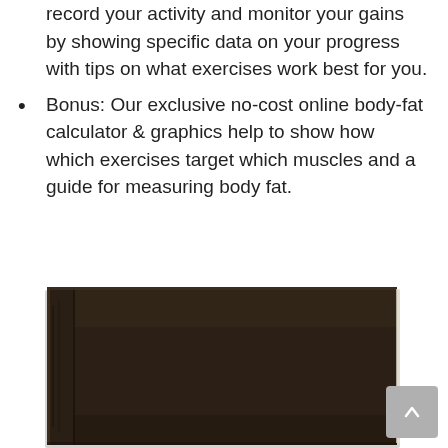record your activity and monitor your gains by showing specific data on your progress with tips on what exercises work best for you.
Bonus: Our exclusive no-cost online body-fat calculator & graphics help to show how which exercises target which muscles and a guide for measuring body fat.
[Figure (photo): A dark brown hardcover book/journal shown from the front cover angle, with a visible spine on the left side. The cover appears textured and dark chocolate/black in color.]